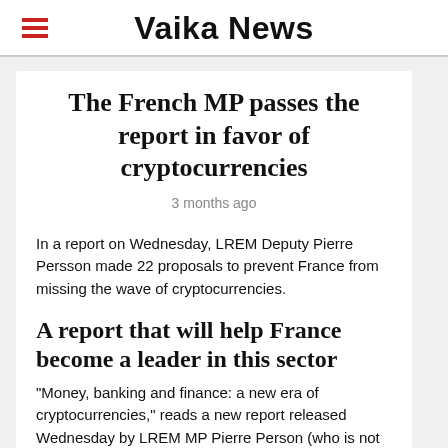Vaika News
The French MP passes the report in favor of cryptocurrencies
3 months ago
In a report on Wednesday, LREM Deputy Pierre Persson made 22 proposals to prevent France from missing the wave of cryptocurrencies.
A report that will help France become a leader in this sector
“Money, banking and finance: a new era of cryptocurrencies,” reads a new report released Wednesday by LREM MP Pierre Person (who is not running in the 2022